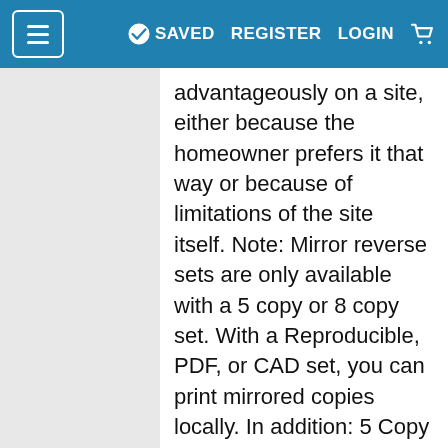≡  ✓ SAVED  REGISTER  LOGIN  🛒
advantageously on a site, either because the homeowner prefers it that way or because of limitations of the site itself. Note: Mirror reverse sets are only available with a 5 copy or 8 copy set. With a Reproducible, PDF, or CAD set, you can print mirrored copies locally. In addition: 5 Copy set selected, should only allow 4 mirrored sets to be selected. 8 Copy set selected, should only